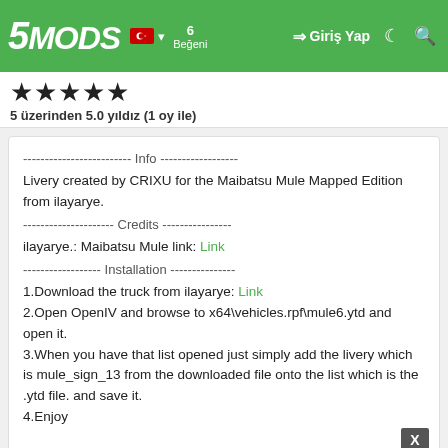5MODS — Giriş Yap header bar
5 üzerinden 5.0 yıldız (1 oy ile)
------------------------- Info ------------------
Livery created by CRIXU for the Maibatsu Mule Mapped Edition from ilayarye.
--------------------- Credits ----------------
ilayarye.: Maibatsu Mule link: Link
------------------ Installation ---------------
1.Download the truck from ilayarye: Link
2.Open OpenIV and browse to x64\vehicles.rpf\mule6.ytd and open it.
3.When you have that list opened just simply add the livery which is mule_sign_13 from the downloaded file onto the list which is the .ytd file. and save it.
4.Enjoy
----------------PLEASE READ----------
The livery has to be shared, not allow me credits for the Super
Show Full Description